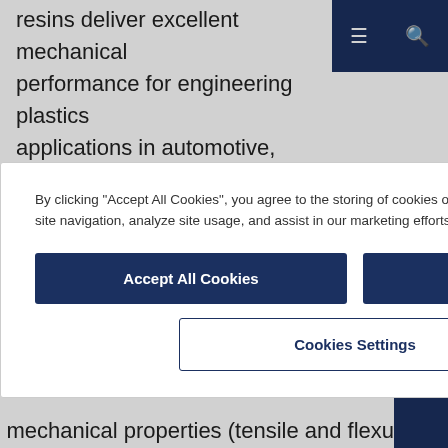resins deliver excellent mechanical performance for engineering plastics applications in automotive, electrical & electronic components and consumer goods.
STABAMID® grades offer high resistance to lubricants, engine fuels, hydraulic fluids...
[Figure (screenshot): Cookie consent modal dialog with close button (×), descriptive text about cookie usage, 'Accept All Cookies' button, 'Reject All' button, and 'Cookies Settings' button. Dark blue navy navigation bar in top right corner of background page.]
mechanical properties (tensile and flexura...